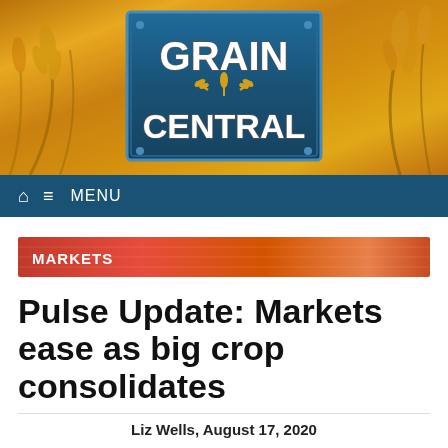[Figure (logo): Grain Central logo on blue metallic plate with wheat stalk icon, set against golden wheat field background]
⌂  ≡  MENU
MARKETS
Pulse Update: Markets ease as big crop consolidates
Liz Wells, August 17, 2020